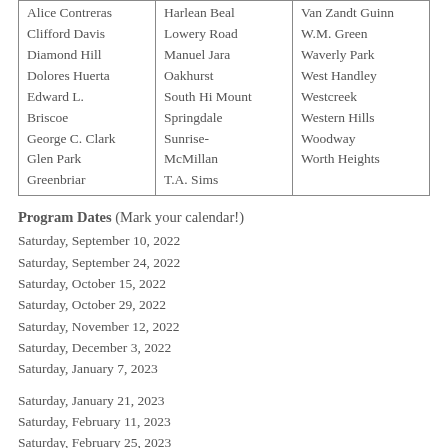|  |  |  |
| --- | --- | --- |
| Alice Contreras
Clifford Davis
Diamond Hill
Dolores Huerta
Edward L. Briscoe
George C. Clark
Glen Park
Greenbriar | Harlean Beal
Lowery Road
Manuel Jara
Oakhurst
South Hi Mount
Springdale
Sunrise-McMillan
T.A. Sims | Van Zandt Guinn
W.M. Green
Waverly Park
West Handley
Westcreek
Western Hills
Woodway
Worth Heights |
Program Dates (Mark your calendar!)
Saturday, September 10, 2022
Saturday, September 24, 2022
Saturday, October 15, 2022
Saturday, October 29, 2022
Saturday, November 12, 2022
Saturday, December 3, 2022
Saturday, January 7, 2023
Saturday, January 21, 2023
Saturday, February 11, 2023
Saturday, February 25, 2023
Saturday, March 4, 2023
Saturday, April 1, 2023